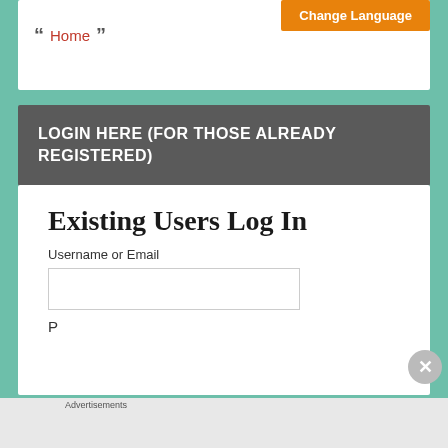Change Language
“ Home ”
LOGIN HERE (FOR THOSE ALREADY REGISTERED)
Existing Users Log In
Username or Email
Password
Advertisements
Search, browse, and email with more privacy. All in One Free App DuckDuckGo